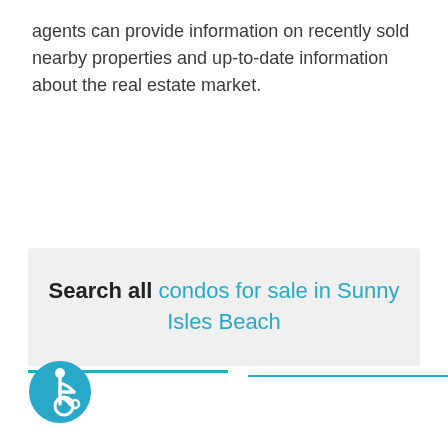agents can provide information on recently sold nearby properties and up-to-date information about the real estate market.
Search all condos for sale in Sunny Isles Beach
[Figure (illustration): Accessibility icon — a person in a wheelchair, white figure on teal/cyan circle background]